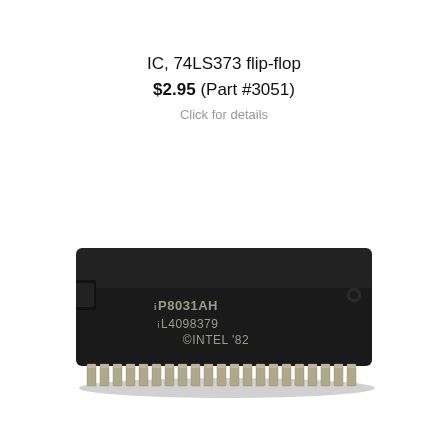IC, 74LS373 flip-flop
$2.95 (Part #3051)
Click for details
[Figure (photo): Photo of an Intel P8031AH DIP integrated circuit chip. The black rectangular IC package has silver metal pins along the bottom edge. Printed text on the chip reads: iP8031AH, L4098379, ©INTEL '82.]